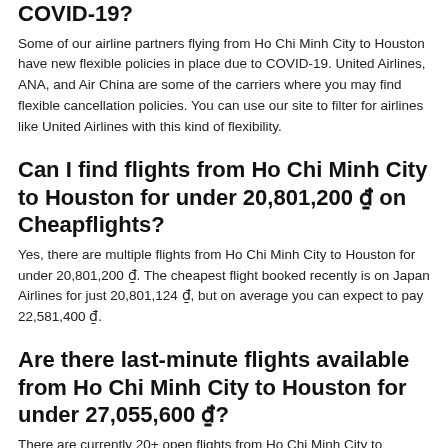COVID-19?
Some of our airline partners flying from Ho Chi Minh City to Houston have new flexible policies in place due to COVID-19. United Airlines, ANA, and Air China are some of the carriers where you may find flexible cancellation policies. You can use our site to filter for airlines like United Airlines with this kind of flexibility.
Can I find flights from Ho Chi Minh City to Houston for under 20,801,200 ₫ on Cheapflights?
Yes, there are multiple flights from Ho Chi Minh City to Houston for under 20,801,200 ₫. The cheapest flight booked recently is on Japan Airlines for just 20,801,124 ₫, but on average you can expect to pay 22,581,400 ₫.
Are there last-minute flights available from Ho Chi Minh City to Houston for under 27,055,600 ₫?
There are currently 20+ open flights from Ho Chi Minh City to